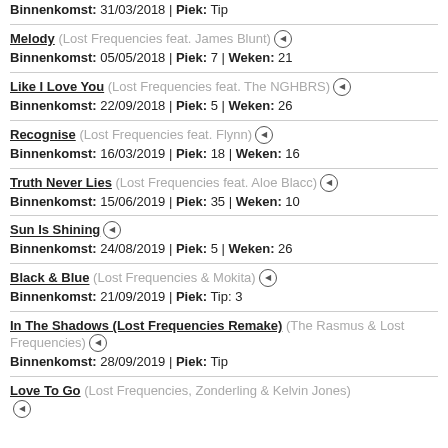Binnenkomst: 31/03/2018 | Piek: Tip
Melody (Lost Frequencies feat. James Blunt) — Binnenkomst: 05/05/2018 | Piek: 7 | Weken: 21
Like I Love You (Lost Frequencies feat. The NGHBRS) — Binnenkomst: 22/09/2018 | Piek: 5 | Weken: 26
Recognise (Lost Frequencies feat. Flynn) — Binnenkomst: 16/03/2019 | Piek: 18 | Weken: 16
Truth Never Lies (Lost Frequencies feat. Aloe Blacc) — Binnenkomst: 15/06/2019 | Piek: 35 | Weken: 10
Sun Is Shining — Binnenkomst: 24/08/2019 | Piek: 5 | Weken: 26
Black & Blue (Lost Frequencies & Mokita) — Binnenkomst: 21/09/2019 | Piek: Tip: 3
In The Shadows (Lost Frequencies Remake) (The Rasmus & Lost Frequencies) — Binnenkomst: 28/09/2019 | Piek: Tip
Love To Go (Lost Frequencies, Zonderling & Kelvin Jones)